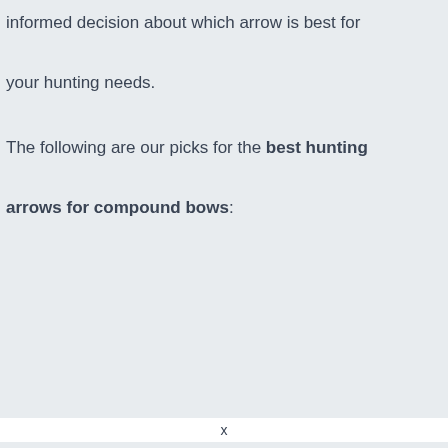informed decision about which arrow is best for your hunting needs.
The following are our picks for the best hunting arrows for compound bows: